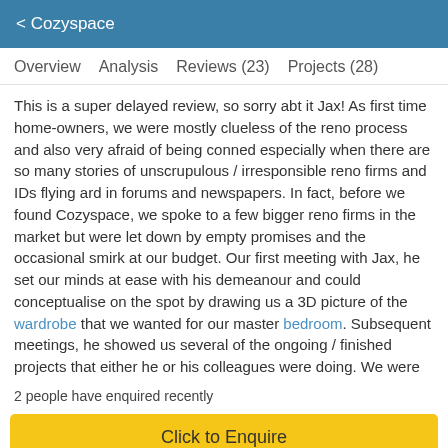< Cozyspace
Overview   Analysis   Reviews (23)   Projects (28)
This is a super delayed review, so sorry abt it Jax! As first time home-owners, we were mostly clueless of the reno process and also very afraid of being conned especially when there are so many stories of unscrupulous / irresponsible reno firms and IDs flying ard in forums and newspapers. In fact, before we found Cozyspace, we spoke to a few bigger reno firms in the market but were let down by empty promises and the occasional smirk at our budget. Our first meeting with Jax, he set our minds at ease with his demeanour and could conceptualise on the spot by drawing us a 3D picture of the wardrobe that we wanted for our master bedroom. Subsequent meetings, he showed us several of the ongoing / finished projects that either he or his colleagues were doing. We were rather impressed with the workmanship and design and went on to sign
2 people have enquired recently
Click to Enquire